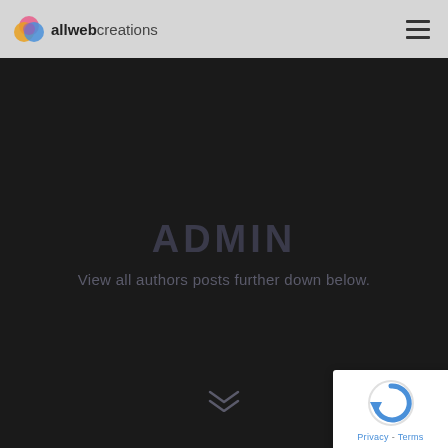allwebcreations
ADMIN
View all authors posts further down below.
[Figure (other): reCAPTCHA badge with circular arrow icon and Privacy/Terms links]